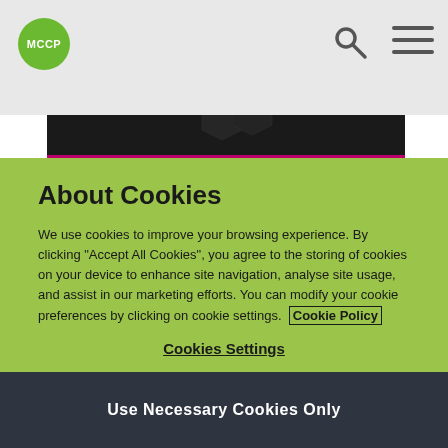MCCP
[Figure (photo): Dark hero image with a person wearing black garment, overlaid with a magenta/pink bar at the bottom. Partial white text visible at bottom of image.]
About Cookies
We use cookies to improve your browsing experience. By clicking “Accept All Cookies”, you agree to the storing of cookies on your device to enhance site navigation, analyse site usage, and assist in our marketing efforts. You can modify your cookie preferences by clicking on cookie settings. Cookie Policy
Cookies Settings
Use Necessary Cookies Only